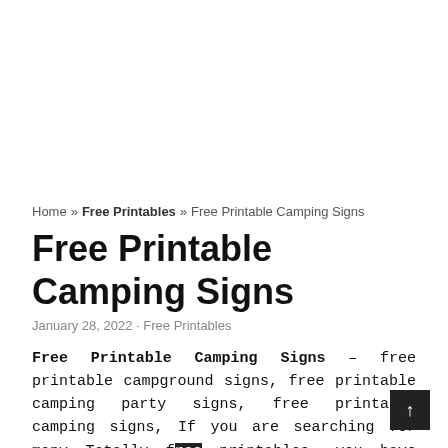[Figure (other): Advertisement placeholder / blank white space at top of page]
Home » Free Printables » Free Printable Camping Signs
Free Printable Camping Signs
January 28, 2022 · Free Printables
Free Printable Camping Signs – free printable campground signs, free printable camping party signs, free printable camping signs, If you are searching for many Totally free printables, you have arrive to the correct spot! Our Contentment is Do-it-yourself, we share A lot of totally free